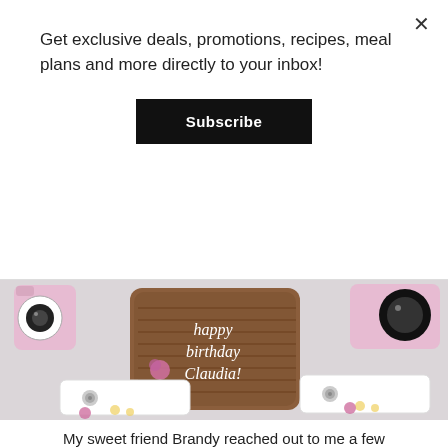Get exclusive deals, promotions, recipes, meal plans and more directly to your inbox!
Subscribe
[Figure (photo): Decorated birthday cookies arranged on a light background. Center cookie reads 'happy birthday Claudia!' in white icing on a brown wood-grain plaque design. Surrounding cookies shaped like cameras and rolls of film with pink floral decorations.]
My sweet friend Brandy reached out to me a few